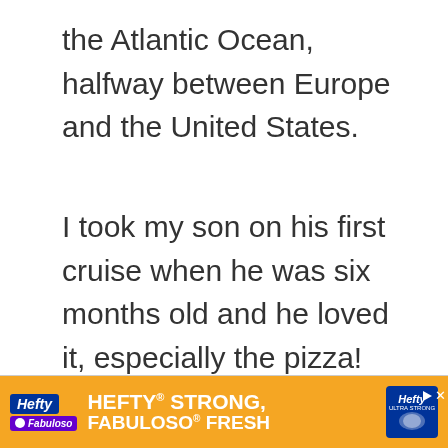the Atlantic Ocean, halfway between Europe and the United States.
I took my son on his first cruise when he was six months old and he loved it, especially the pizza!
[Figure (other): Hefty STRONG, Fabuloso FRESH advertisement banner with orange background, Hefty and Fabuloso logos, product image on right, and close/play buttons.]